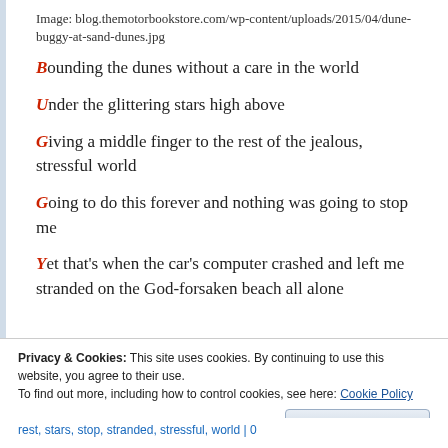Image: blog.themotorbookstore.com/wp-content/uploads/2015/04/dune-buggy-at-sand-dunes.jpg
Bounding the dunes without a care in the world
Under the glittering stars high above
Giving a middle finger to the rest of the jealous, stressful world
Going to do this forever and nothing was going to stop me
Yet that's when the car's computer crashed and left me stranded on the God-forsaken beach all alone
Privacy & Cookies: This site uses cookies. By continuing to use this website, you agree to their use. To find out more, including how to control cookies, see here: Cookie Policy
rest, stars, stop, stranded, stressful, world | 0